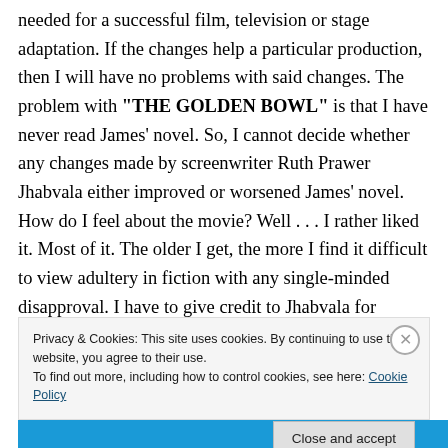needed for a successful film, television or stage adaptation. If the changes help a particular production, then I will have no problems with said changes. The problem with "THE GOLDEN BOWL" is that I have never read James' novel. So, I cannot decide whether any changes made by screenwriter Ruth Prawer Jhabvala either improved or worsened James' novel. How do I feel about the movie? Well . . . I rather liked it. Most of it. The older I get, the more I find it difficult to view adultery in fiction with any single-minded disapproval. I have to give credit to Jhabvala for portraying Charlotte and Amerigo's
Privacy & Cookies: This site uses cookies. By continuing to use this website, you agree to their use. To find out more, including how to control cookies, see here: Cookie Policy